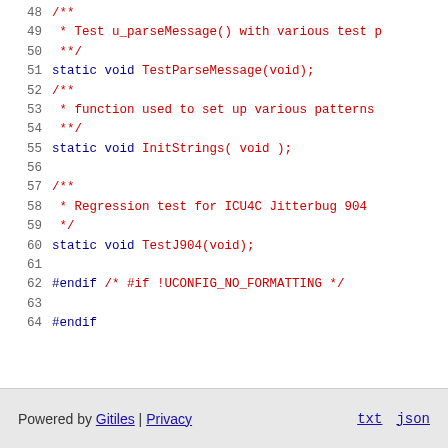48	/**
49	 * Test u_parseMessage() with various test p
50	 **/
51	static void TestParseMessage(void);
52	/**
53	 * function used to set up various patterns
54	 **/
55	static void InitStrings( void );
56
57	/**
58	 * Regression test for ICU4C Jitterbug 904
59	 */
60	static void TestJ904(void);
61
62 #endif /* #if !UCONFIG_NO_FORMATTING */
63
64 #endif
Powered by Gitiles | Privacy   txt   json